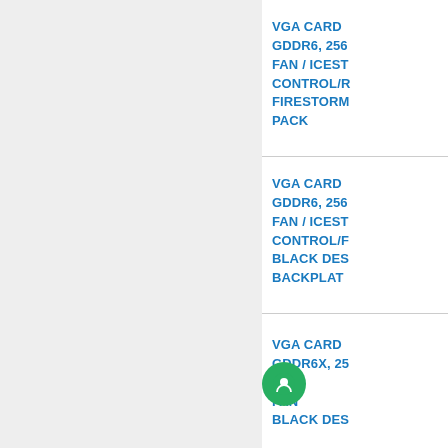VGA CARD ... GDDR6, 256... FAN / ICEST... CONTROL/F... FIRESTORM... PACK
VGA CARD ... GDDR6, 256... FAN / ICEST... CONTROL/F... BLACK DES... BACKPLAT...
VGA CARD ... GDDR6X, 25... TRIP... AN... FAN ...TR... BLACK DES...